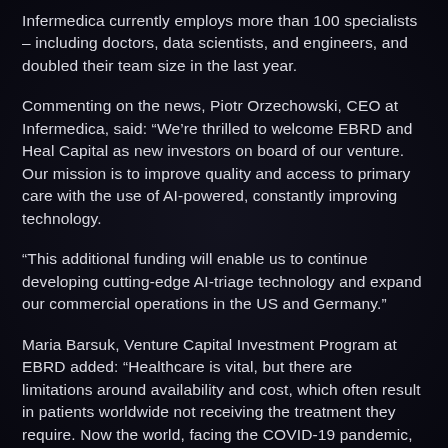Infermedica currently employs more than 100 specialists – including doctors, data scientists, and engineers, and doubled their team size in the last year.
Commenting on the news, Piotr Orzechowski, CEO at Infermedica, said: “We’re thrilled to welcome EBRD and Heal Capital as new investors on board of our venture. Our mission is to improve quality and access to primary care with the use of AI-powered, constantly improving technology.
“This additional funding will enable us to continue developing cutting-edge AI-triage technology and expand our commercial operations in the US and Germany.”
Maria Barsuk, Venture Capital Investment Program at EBRD added: “Healthcare is vital, but there are limitations around availability and cost, which often result in patients worldwide not receiving the treatment they require. Now the world, facing the COVID-19 pandemic, is in greater need for remote